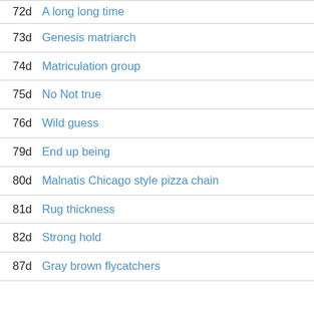72d A long long time
73d Genesis matriarch
74d Matriculation group
75d No Not true
76d Wild guess
79d End up being
80d Malnatis Chicago style pizza chain
81d Rug thickness
82d Strong hold
87d Gray brown flycatchers